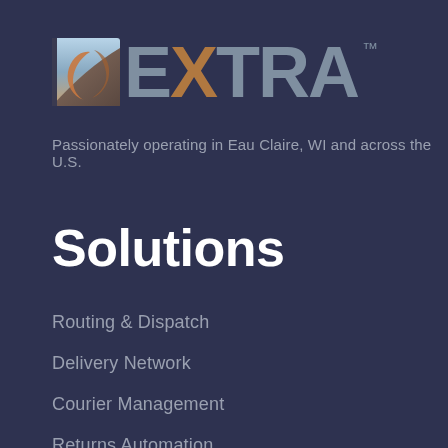[Figure (logo): EXTRA logo with road/arrow icon on the left and stylized text 'EXTRA' with 'X' in bronze/copper color and TM mark, on dark navy background]
Passionately operating in Eau Claire, WI and across the U.S.
Solutions
Routing & Dispatch
Delivery Network
Courier Management
Returns Automation